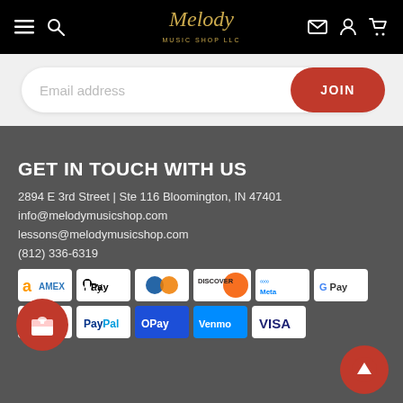Melody Music Shop LLC
Email address
JOIN
GET IN TOUCH WITH US
2894 E 3rd Street | Ste 116 Bloomington, IN 47401
info@melodymusicshop.com
lessons@melodymusicshop.com
(812) 336-6319
[Figure (logo): Payment method icons: Amazon, Amex, Apple Pay, Diners Club, Discover, Meta Pay, Google Pay, Mastercard, PayPal, O Pay, Venmo, Visa]